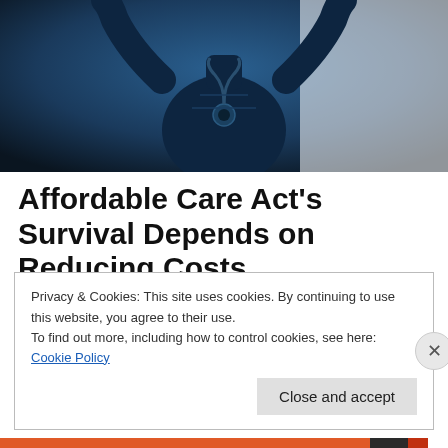[Figure (photo): Silhouette of a medical professional (doctor/nurse) wearing scrubs and stethoscope, arms raised, dark blue toned image]
Affordable Care Act's Survival Depends on Reducing Costs
An Opinion by Andreas Lauritzen It is no secret that Americans are spending more money on health care than
Privacy & Cookies: This site uses cookies. By continuing to use this website, you agree to their use.
To find out more, including how to control cookies, see here: Cookie Policy
Close and accept